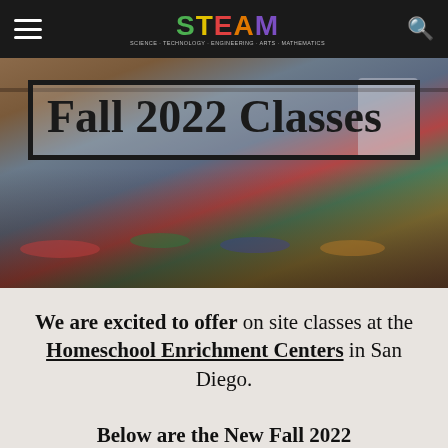STEAM — Science Technology Engineering Arts Mathematics
[Figure (photo): Classroom photo showing children sitting on a colorful rug with a teacher at a whiteboard, used as hero banner background. Overlaid with title box reading 'Fall 2022 Classes'.]
Fall 2022 Classes
We are excited to offer on site classes at the Homeschool Enrichment Centers in San Diego. Below are the New Fall 2022